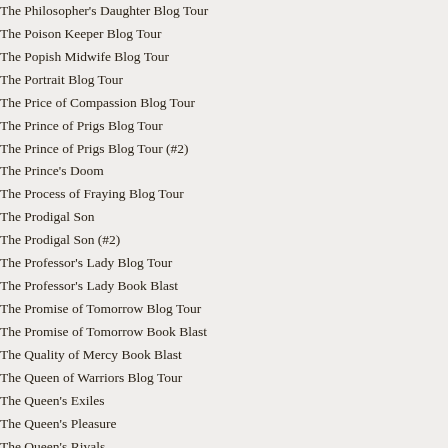The Philosopher's Daughter Blog Tour
The Poison Keeper Blog Tour
The Popish Midwife Blog Tour
The Portrait Blog Tour
The Price of Compassion Blog Tour
The Prince of Prigs Blog Tour
The Prince of Prigs Blog Tour (#2)
The Prince's Doom
The Process of Fraying Blog Tour
The Prodigal Son
The Prodigal Son (#2)
The Professor's Lady Blog Tour
The Professor's Lady Book Blast
The Promise of Tomorrow Blog Tour
The Promise of Tomorrow Book Blast
The Quality of Mercy Book Blast
The Queen of Warriors Blog Tour
The Queen's Exiles
The Queen's Pleasure
The Queen's Rivals
The Queen's Vow
The Queen's Vow (PB)
The Quest for the Crown of Thorns Blog Tour
The Quest for the Crown of Thorns Blog Tour (#1)
The Quest for the Crown of Thorns...